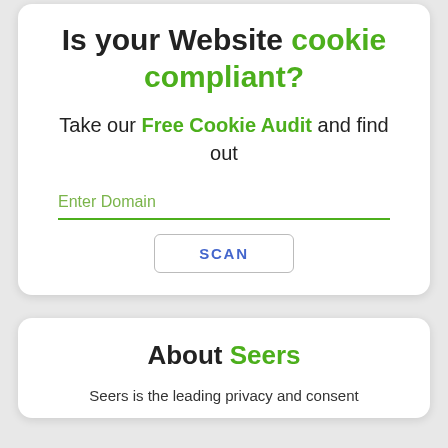Is your Website cookie compliant?
Take our Free Cookie Audit and find out
Enter Domain
SCAN
About Seers
Seers is the leading privacy and consent